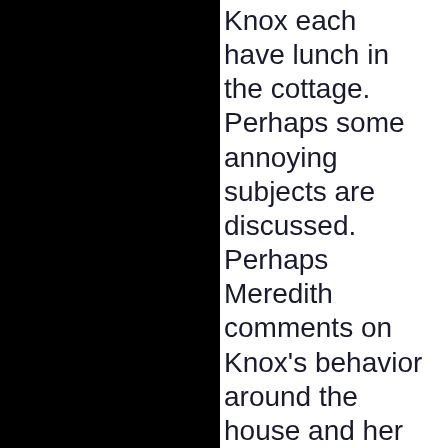Knox each have lunch in the cottage. Perhaps some annoying subjects are discussed. Perhaps Meredith comments on Knox's behavior around the house and her male visitors, as only a thin wall separates their two bedrooms.
5 to 6 pm: Knox and